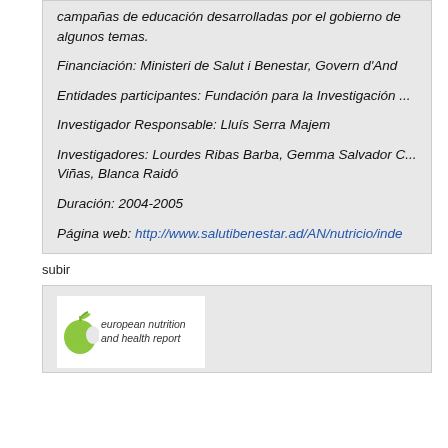campañas de educación desarrolladas por el gobierno de algunos temas.
Financiación: Ministeri de Salut i Benestar, Govern d'And...
Entidades participantes: Fundación para la Investigación ...
Investigador Responsable: Lluís Serra Majem
Investigadores: Lourdes Ribas Barba, Gemma Salvador C... Viñas, Blanca Raidó
Duración: 2004-2005
Página web: http://www.salutibenestar.ad/AN/nutricio/inde...
subir
[Figure (logo): European Nutrition and Health Report logo with a stylized green apple icon and italic text]